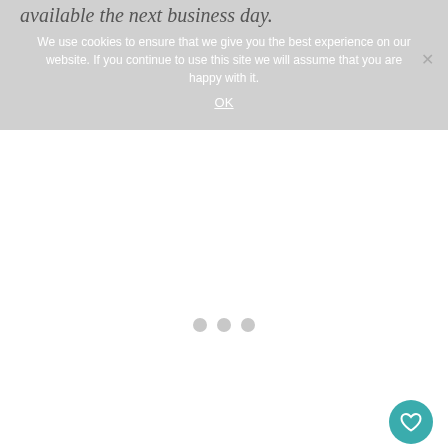available the next business day.
We use cookies to ensure that we give you the best experience on our website. If you continue to use this site we will assume that you are happy with it.
OK
[Figure (other): Loading spinner with three grey dots centered on white background]
[Figure (other): Heart (favourite) button in teal, count badge showing 2, and share button below, positioned at bottom right]